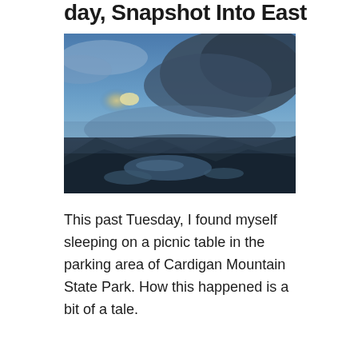day, Snapshot Into East
[Figure (photo): Aerial or elevated view from a mountain summit at dusk or dawn. The foreground shows dark rocky terrain with small pools of water reflecting the sky. The background shows a dramatic cloudy sky with a bright area near the horizon where the sun is positioned. The overall tone is dark blue with misty clouds rolling over the summit.]
This past Tuesday, I found myself sleeping on a picnic table in the parking area of Cardigan Mountain State Park. How this happened is a bit of a tale.